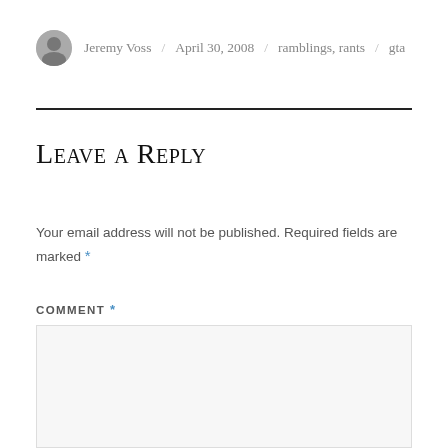Jeremy Voss / April 30, 2008 / ramblings, rants / gta
Leave a Reply
Your email address will not be published. Required fields are marked *
COMMENT *